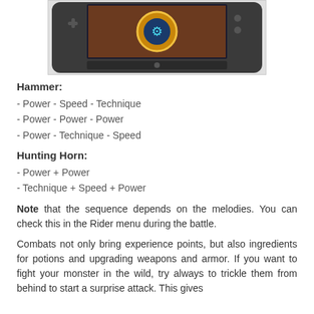[Figure (screenshot): A Nintendo 3DS handheld console displaying a game screen with a golden circular emblem/logo on a dark background.]
Hammer:
- Power - Speed - Technique
- Power - Power - Power
- Power - Technique - Speed
Hunting Horn:
- Power + Power
- Technique + Speed + Power
Note that the sequence depends on the melodies. You can check this in the Rider menu during the battle.
Combats not only bring experience points, but also ingredients for potions and upgrading weapons and armor. If you want to fight your monster in the wild, try always to trickle them from behind to start a surprise attack. This gives